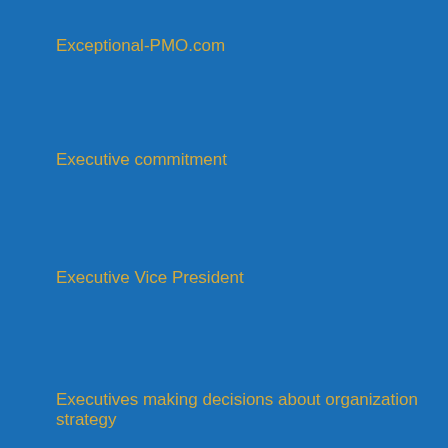Exceptional-PMO.com
Executive commitment
Executive Vice President
Executives making decisions about organization strategy
Expanded Distribution
Facebook
FAPA President's Book Awards
Faraday Future
Fase 1: Vormfase